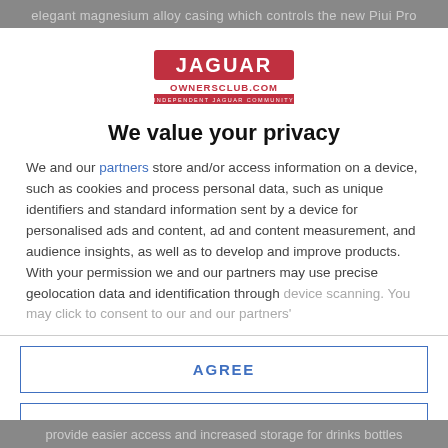elegant magnesium alloy casing which controls the new Piui Pro
[Figure (logo): Jaguar Owners Club logo - JAGUAR OWNERSCLUB.COM INDEPENDENT JAGUAR COMMUNITY]
We value your privacy
We and our partners store and/or access information on a device, such as cookies and process personal data, such as unique identifiers and standard information sent by a device for personalised ads and content, ad and content measurement, and audience insights, as well as to develop and improve products. With your permission we and our partners may use precise geolocation data and identification through device scanning. You may click to consent to our and our partners'
AGREE
MORE OPTIONS
provide easier access and increased storage for drinks bottles